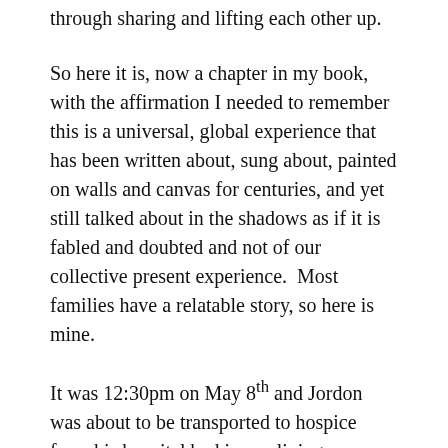through sharing and lifting each other up.
So here it is, now a chapter in my book, with the affirmation I needed to remember this is a universal, global experience that has been written about, sung about, painted on walls and canvas for centuries, and yet still talked about in the shadows as if it is fabled and doubted and not of our collective present experience.  Most families have a relatable story, so here is mine.
It was 12:30pm on May 8th and Jordon was about to be transported to hospice from his hospital bed in our living room.  He was gravely ill and his health was deteriorating rapidly.  We didn't know this would be his last day and he didn't either.  He was worried about the experience of